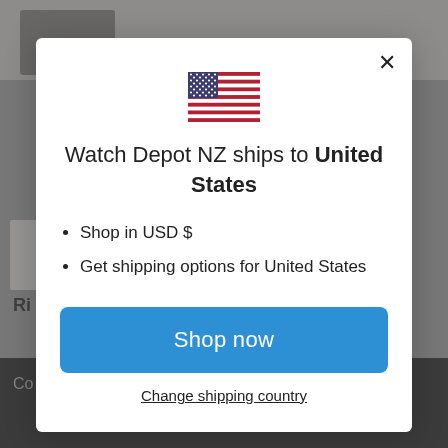[Figure (screenshot): Website background showing product images and dark footer with SOLD OUT button]
[Figure (illustration): US flag icon shown in modal dialog]
Watch Depot NZ ships to United States
Shop in USD $
Get shipping options for United States
Shop now
Change shipping country